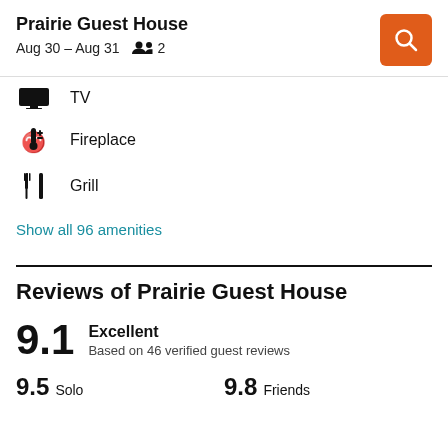Prairie Guest House
Aug 30 – Aug 31  2
TV
Fireplace
Grill
Show all 96 amenities
Reviews of Prairie Guest House
9.1  Excellent
Based on 46 verified guest reviews
9.5  Solo    9.8  Friends